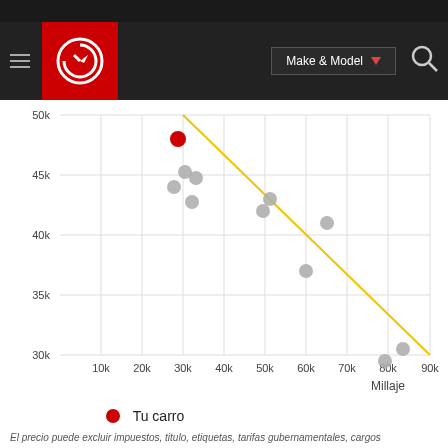[Figure (screenshot): Car website navigation bar with hamburger menu, red circular logo with G icon, Make & Model dropdown button, and search icon on dark background]
[Figure (scatter-plot): Scatter plot showing price vs mileage for used cars. A yellow trend line runs diagonally from upper-left to lower-right. One red dot labeled Tu carro at approximately 29k miles, 48k price. Multiple grey dots scattered around. Y-axis: 30k to 50k. X-axis: 10k to 90k. Label Millaje on x-axis.]
Tu carro
El precio puede excluir impuestos, titulo, etiquetas, tarifas gubernamentales, cargos